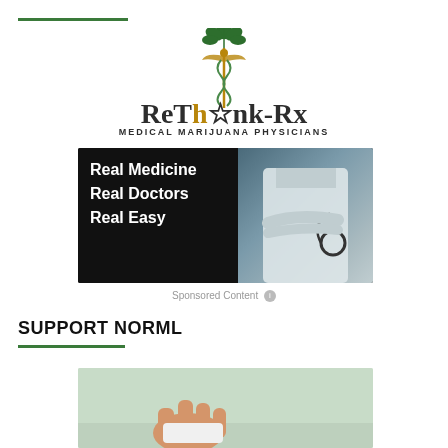[Figure (logo): ReThink-Rx Medical Marijuana Physicians logo with caduceus symbol and cannabis leaf]
[Figure (photo): Advertisement image with dark background showing text 'Real Medicine Real Doctors Real Easy' and a doctor in white coat holding a stethoscope]
Sponsored Content
SUPPORT NORML
[Figure (photo): Partial image showing a hand holding a white card or mouse on a light green background]